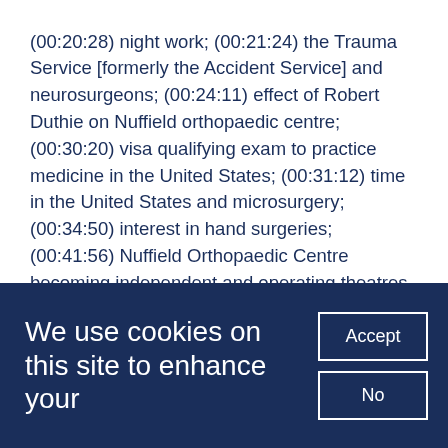(00:20:28) night work; (00:21:24) the Trauma Service [formerly the Accident Service] and neurosurgeons; (00:24:11) effect of Robert Duthie on Nuffield orthopaedic centre; (00:30:20) visa qualifying exam to practice medicine in the United States; (00:31:12) time in the United States and microsurgery; (00:34:50) interest in hand surgeries; (00:41:56) Nuffield Orthopaedic Centre becoming independent and operating theatres at the centre; (00:50:34) the Accident Service and difference between Oxford and Birmingham Hospital concepts; (00:53:39) intensive care units at the Radcliffe Infirmary; (00:55:05) hand surgery colleagues; (01:01:01) endoscopy in the shoulder; (01:10:34)
We use cookies on this site to enhance your